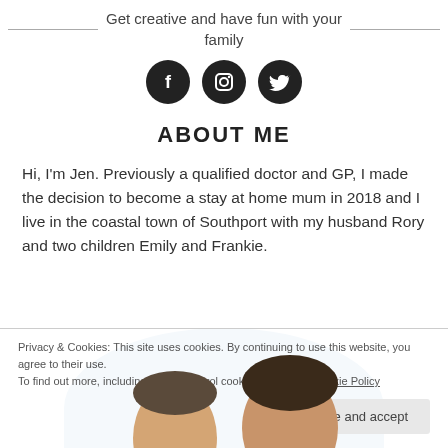Get creative and have fun with your family
[Figure (illustration): Three social media icon circles (Facebook f, Instagram camera, Twitter bird) in black circles]
ABOUT ME
Hi, I'm Jen. Previously a qualified doctor and GP, I made the decision to become a stay at home mum in 2018 and I live in the coastal town of Southport with my husband Rory and two children Emily and Frankie.
[Figure (photo): Family photo partially visible, blue oval background, faces of people visible from top]
Privacy & Cookies: This site uses cookies. By continuing to use this website, you agree to their use. To find out more, including how to control cookies, see here: Cookie Policy